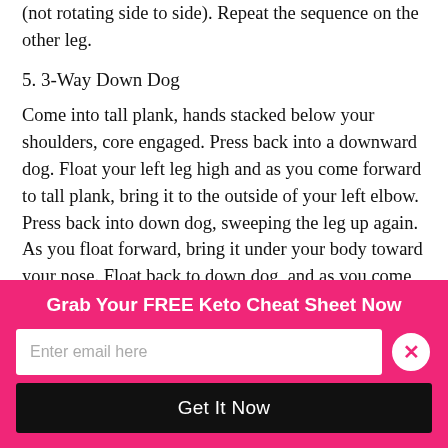(not rotating side to side). Repeat the sequence on the other leg.
5. 3-Way Down Dog
Come into tall plank, hands stacked below your shoulders, core engaged. Press back into a downward dog. Float your left leg high and as you come forward to tall plank, bring it to the outside of your left elbow. Press back into down dog, sweeping the leg up again. As you float forward, bring it under your body toward your nose. Float back to down dog, and as you come forward again, bring it under and across toward your right
Grab Your FREE Keto Cheat Sheet Now
Enter email here
Get It Now